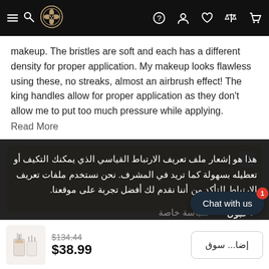Navigation bar with logo and icons
makeup. The bristles are soft and each has a different density for proper application. My makeup looks flawless using these, no streaks, almost an airbrush effect! The king handles allow for proper application as they don't allow me to put too much pressure while applying.
Read More
هذا هو إشعار ملف تعريف الارتباط القياسي الذي يمكنك التكيف أو تعطيله بسهولة كما تريد في المشرف. نحن نستخدم ملفات تعريف الارتباط للتأكد من أننا نقدم لك أفضل تجربة على موقعنا.
✓ قبول   سياسة خاصة
$134.44
$38.99
إضا...سوق
Chat with us